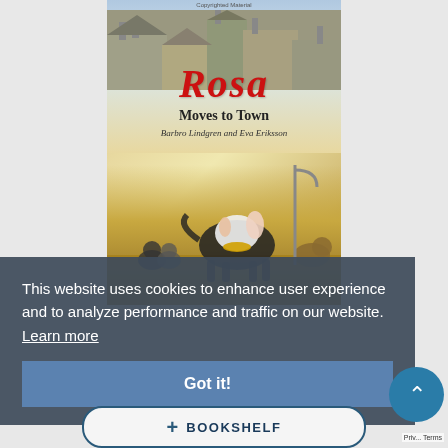[Figure (illustration): Book cover of 'Rosa Moves to Town' by Barbro Lindgren and Eva Eriksson. Shows a black and white bull terrier dog in a town street scene with buildings, cats, and another dog. The title 'Rosa' is in large red italic letters, with 'Moves to Town' in dark serif below, and authors' names in italic below that. 'Copyrighted Material' text at top.]
This website uses cookies to enhance user experience and to analyze performance and traffic on our website.  Learn more
Got it!
+ BOOKSHELF